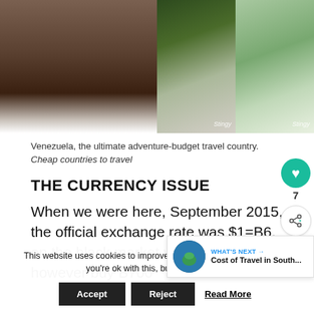[Figure (photo): Three travel photos side by side: rocky canyon/cliffs, waterfall with greenery (labeled Stingy), and hands handling money/leaves (labeled Stingy)]
Venezuela, the ultimate adventure-budget travel country. Cheap countries to travel
THE CURRENCY ISSUE
When we were here, September 2015, the official exchange rate was $1=B6, on the black market you could however buy B700
This website uses cookies to improve your experience. We'll assume you're ok with this, but you can opt-o